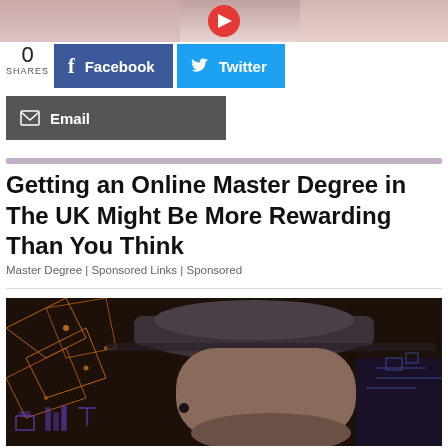[Figure (photo): Partial top image showing persons and a red play button icon]
0 SHARES
[Figure (infographic): Facebook share button (blue) and Twitter share button (light blue)]
[Figure (infographic): Email share button (dark grey)]
Getting an Online Master Degree in The UK Might Be More Rewarding Than You Think
Master Degree | Sponsored Links | Sponsored
[Figure (photo): Man wearing a grey cap looking sideways, with digital/technological overlay graphics in orange and purple]